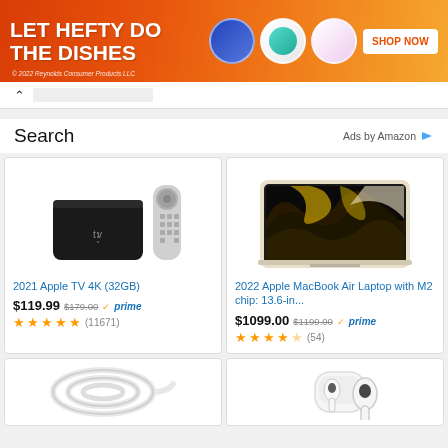[Figure (photo): Hefty dish soap advertisement banner with orange background, product images, and SHOP NOW button. Text: LET HEFTY DO THE DISHES. © 2022 Reynolds Consumer Products LLC]
Search
Ads by Amazon
[Figure (photo): Apple TV 4K device (black box) with Siri Remote (silver) on white background]
2021 Apple TV 4K (32GB)
$119.99 $179.00 ✓prime ★★★★★ (11671)
[Figure (photo): 2022 Apple MacBook Air laptop with M2 chip open showing colorful abstract wallpaper on white/starlight background]
2022 Apple MacBook Air Laptop with M2 chip: 13.6-in...
$1099.00 $1199.00 ✓prime ★★★★½ (54)
[Figure (photo): White coiled cable or cord on white background (partial view)]
[Figure (photo): Apple AirPods Pro with charging case on white background (partial view)]